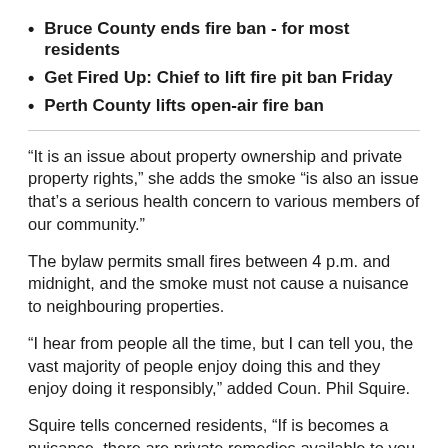Bruce County ends fire ban - for most residents
Get Fired Up: Chief to lift fire pit ban Friday
Perth County lifts open-air fire ban
“It is an issue about property ownership and private property rights,” she adds the smoke “is also an issue that’s a serious health concern to various members of our community.”
The bylaw permits small fires between 4 p.m. and midnight, and the smoke must not cause a nuisance to neighbouring properties.
“I hear from people all the time, but I can tell you, the vast majority of people enjoy doing this and they enjoy doing it responsibly,” added Coun. Phil Squire.
Squire tells concerned residents, “If is becomes a nuisance, there are private remedies available to you